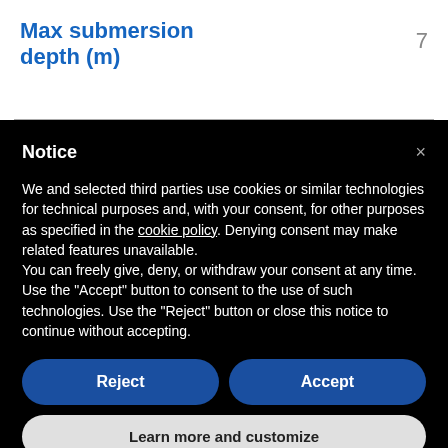Max submersion depth (m)
7
Notice
We and selected third parties use cookies or similar technologies for technical purposes and, with your consent, for other purposes as specified in the cookie policy. Denying consent may make related features unavailable.
You can freely give, deny, or withdraw your consent at any time.
Use the "Accept" button to consent to the use of such technologies. Use the "Reject" button or close this notice to continue without accepting.
Reject
Accept
Learn more and customize